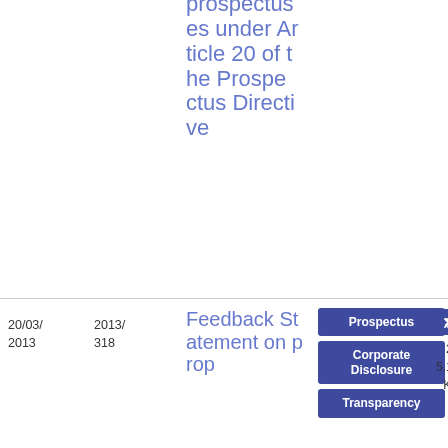prospectuses under Article 20 of the Prospectus Directive
20/03/2013
2013/318
Feedback Statement on proposed
Prospectus
Corporate Disclosure
Transparency
CESR Document
PDF
26
5.19 KB